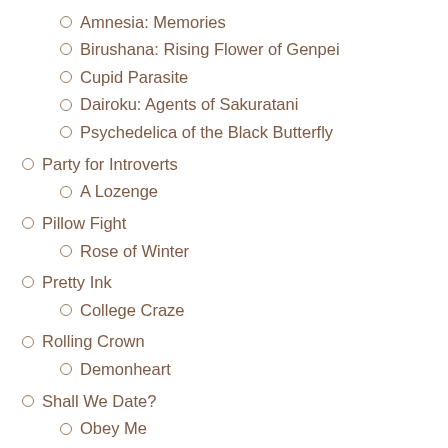Amnesia: Memories
Birushana: Rising Flower of Genpei
Cupid Parasite
Dairoku: Agents of Sakuratani
Psychedelica of the Black Butterfly
Party for Introverts
A Lozenge
Pillow Fight
Rose of Winter
Pretty Ink
College Craze
Rolling Crown
Demonheart
Shall We Date?
Obey Me